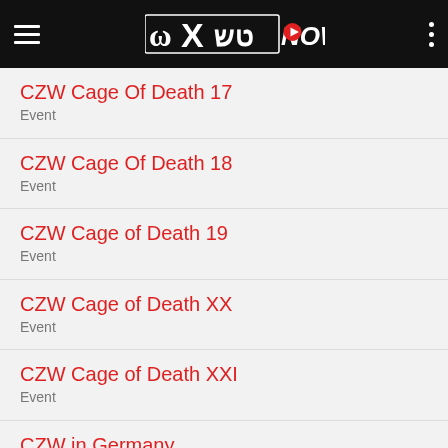WXTV NOW
CZW Cage Of Death 17
Event
CZW Cage Of Death 18
Event
CZW Cage of Death 19
Event
CZW Cage of Death XX
Event
CZW Cage of Death XXI
Event
CZW in Germany
Event
CZW Tournament Of Death
Event